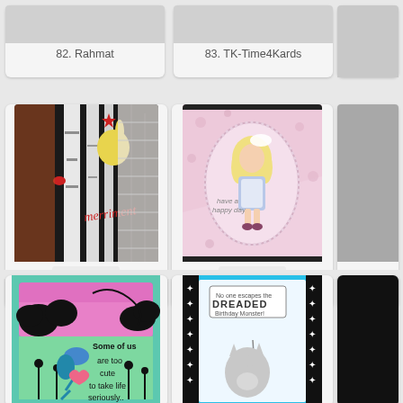[Figure (screenshot): Grid of craft/greeting card thumbnails with visit link buttons and numbered labels. Shows entries 82-88 in a link party layout.]
82. Rahmat
83. TK-Time4Kards
85. Darnell 2
86. Lia